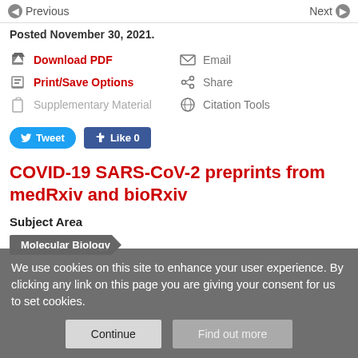Previous | Next
Posted November 30, 2021.
Download PDF
Email
Print/Save Options
Share
Supplementary Material
Citation Tools
Tweet  Like 0
COVID-19 SARS-CoV-2 preprints from medRxiv and bioRxiv
Subject Area
Molecular Biology
We use cookies on this site to enhance your user experience. By clicking any link on this page you are giving your consent for us to set cookies.